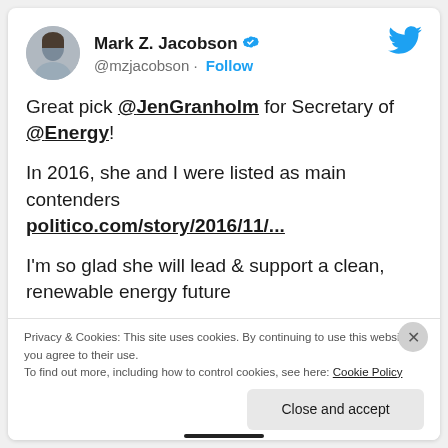[Figure (illustration): Twitter/X screenshot showing tweet by Mark Z. Jacobson (@mzjacobson) with verified badge and Twitter bird logo in top right]
Great pick @JenGranholm for Secretary of @Energy!

In 2016, she and I were listed as main contenders politico.com/story/2016/11/...

I'm so glad she will lead & support a clean, renewable energy future
Privacy & Cookies: This site uses cookies. By continuing to use this website, you agree to their use.
To find out more, including how to control cookies, see here: Cookie Policy
Close and accept